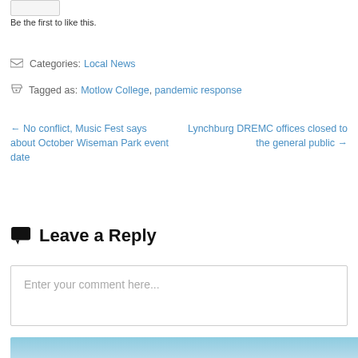Be the first to like this.
Categories: Local News
Tagged as: Motlow College, pandemic response
← No conflict, Music Fest says about October Wiseman Park event date
Lynchburg DREMC offices closed to the general public →
Leave a Reply
Enter your comment here...
[Figure (photo): Partial blue sky/clouds image at bottom of page]